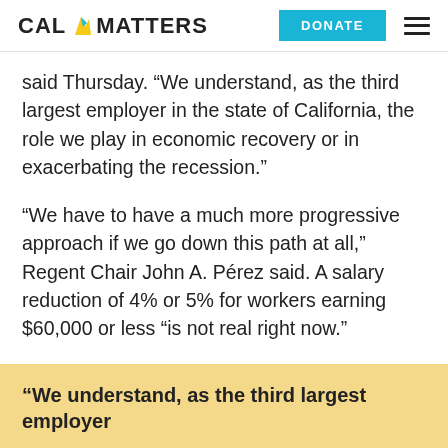CAL MATTERS | DONATE
said Thursday. “We understand, as the third largest employer in the state of California, the role we play in economic recovery or in exacerbating the recession.”
“We have to have a much more progressive approach if we go down this path at all,” Regent Chair John A. Pérez said. A salary reduction of 4% or 5% for workers earning $60,000 or less “is not real right now.”
“We understand, as the third largest employer